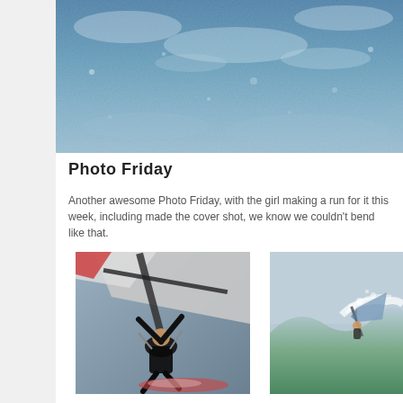[Figure (photo): Aerial/water view with blue sky and water texture, windsurfing scene from above]
Photo Friday
Another awesome Photo Friday, with the girl making a run for it this week, including made the cover shot, we know we couldn't bend like that.
[Figure (photo): Windsurfer performing an aerial maneuver seen from below, dark silhouette against sail and sky]
[Figure (photo): Windsurfer riding a large wave with spray, misty background]